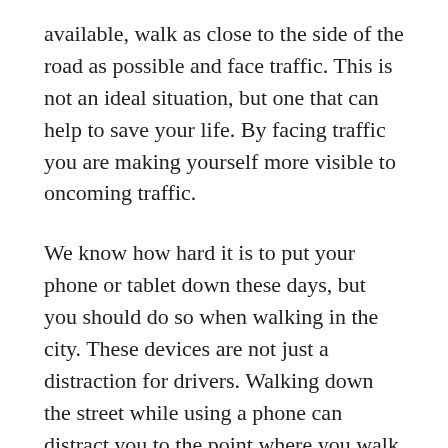available, walk as close to the side of the road as possible and face traffic. This is not an ideal situation, but one that can help to save your life. By facing traffic you are making yourself more visible to oncoming traffic.
We know how hard it is to put your phone or tablet down these days, but you should do so when walking in the city. These devices are not just a distraction for drivers. Walking down the street while using a phone can distract you to the point where you walk right out into the street without looking.
If you must walk at night, wear reflective clothing. You should even consider using a flashlight when out at night to make it easier for drivers to see you on the